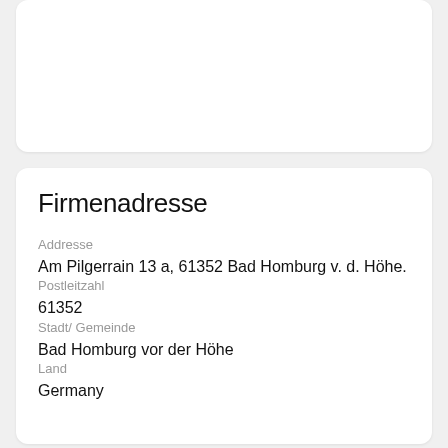Firmenadresse
Addresse
Am Pilgerrain 13 a, 61352 Bad Homburg v. d. Höhe.
Postleitzahl
61352
Stadt/ Gemeinde
Bad Homburg vor der Höhe
Land
Germany